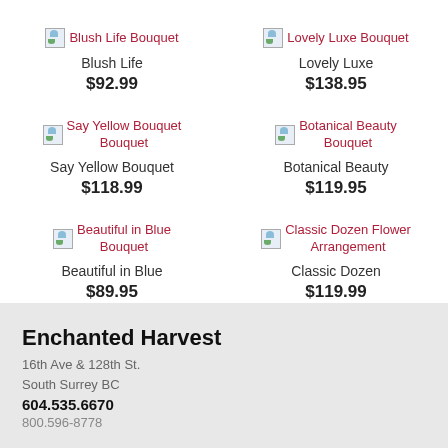[Figure (photo): Blush Life Bouquet product image placeholder]
Blush Life
$92.99
[Figure (photo): Lovely Luxe Bouquet product image placeholder]
Lovely Luxe
$138.95
[Figure (photo): Say Yellow Bouquet product image placeholder]
Say Yellow Bouquet
$118.99
[Figure (photo): Botanical Beauty Bouquet product image placeholder]
Botanical Beauty
$119.95
[Figure (photo): Beautiful in Blue Bouquet product image placeholder]
Beautiful in Blue
$89.95
[Figure (photo): Classic Dozen Flower Arrangement product image placeholder]
Classic Dozen
$119.99
Enchanted Harvest
16th Ave & 128th St.
South Surrey BC
604.535.6670
800.596-8778